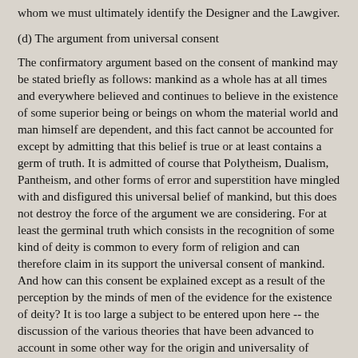whom we must ultimately identify the Designer and the Lawgiver.
(d) The argument from universal consent
The confirmatory argument based on the consent of mankind may be stated briefly as follows: mankind as a whole has at all times and everywhere believed and continues to believe in the existence of some superior being or beings on whom the material world and man himself are dependent, and this fact cannot be accounted for except by admitting that this belief is true or at least contains a germ of truth. It is admitted of course that Polytheism, Dualism, Pantheism, and other forms of error and superstition have mingled with and disfigured this universal belief of mankind, but this does not destroy the force of the argument we are considering. For at least the germinal truth which consists in the recognition of some kind of deity is common to every form of religion and can therefore claim in its support the universal consent of mankind. And how can this consent be explained except as a result of the perception by the minds of men of the evidence for the existence of deity? It is too large a subject to be entered upon here -- the discussion of the various theories that have been advanced to account in some other way for the origin and universality of religion; but it may safely be said that, abstracting from revelation, which need not be discussed at this stage, no other theory will stand the test of criticism. And, assuming that this is the best explanation philosophy has to offer, it may further be maintained